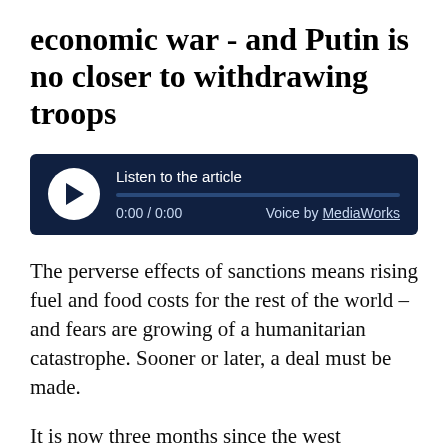economic war - and Putin is no closer to withdrawing troops
[Figure (other): Audio player widget with dark navy background showing 'Listen to the article', a play button, progress bar, time '0:00 / 0:00', and 'Voice by MediaWorks']
The perverse effects of sanctions means rising fuel and food costs for the rest of the world – and fears are growing of a humanitarian catastrophe. Sooner or later, a deal must be made.
It is now three months since the west launched its economic war against Russia, and it is not going according to plan. On the contrary, things